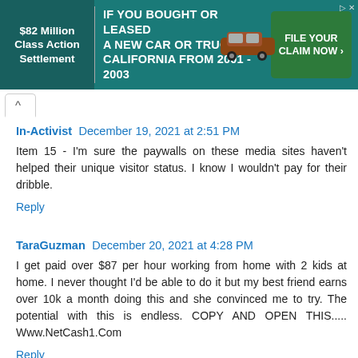[Figure (other): Advertisement banner: '$82 Million Class Action Settlement' and 'IF YOU BOUGHT OR LEASED A NEW CAR OR TRUCK IN CALIFORNIA FROM 2001 - 2003' with a car image and 'FILE YOUR CLAIM NOW' green button]
^
In-Activist  December 19, 2021 at 2:51 PM
Item 15 - I'm sure the paywalls on these media sites haven't helped their unique visitor status. I know I wouldn't pay for their dribble.
Reply
TaraGuzman  December 20, 2021 at 4:28 PM
I get paid over $87 per hour working from home with 2 kids at home. I never thought I'd be able to do it but my best friend earns over 10k a month doing this and she convinced me to try. The potential with this is endless. COPY AND OPEN THIS..... Www.NetCash1.Com
Reply